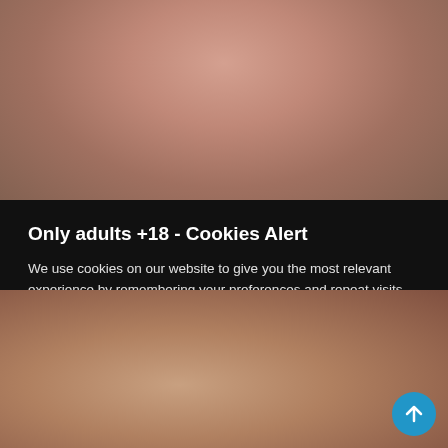[Figure (photo): Partially visible person in upper portion of page, blurred/cropped adult content website screenshot]
Only adults +18 - Cookies Alert
We use cookies on our website to give you the most relevant experience by remembering your preferences and repeat visits. By clicking "Accept All", you consent to the use of ALL the cookies. However, you may visit "Cookie Settings" to provide a controlled consent.
[Figure (photo): Partially visible person in lower portion of page, blurred/cropped adult content website screenshot]